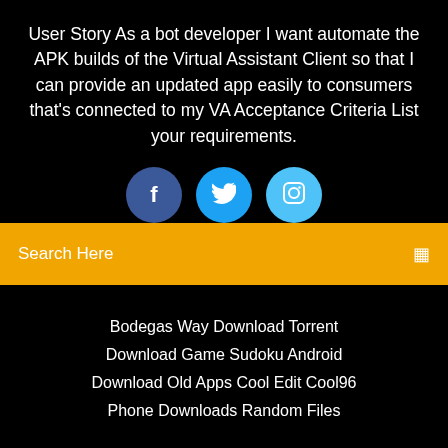User Story As a bot developer I want automate the APK builds of the Virtual Assistant Client so that I can provide an updated app easily to consumers that's connected to my VA Acceptance Criteria List your requirements.
[Figure (other): Three social media icon buttons: Facebook (dark blue), Twitter (medium blue), Instagram (light blue), partially visible at bottom of black section]
Search Here
Bodegas Way Download Torrent
Download Game Sudoku Android
Download Old Apps Cool Edit Cool96
Phone Downloads Random Files
Copyright ©2022 All rights reserved